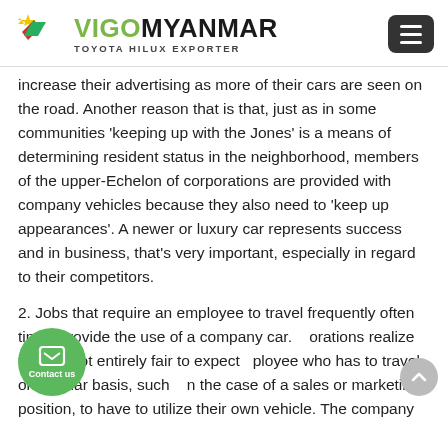VIGO MYANMAR - TOYOTA HILUX EXPORTER
increase their advertising as more of their cars are seen on the road. Another reason that is that, just as in some communities 'keeping up with the Jones' is a means of determining resident status in the neighborhood, members of the upper-Echelon of corporations are provided with company vehicles because they also need to 'keep up appearances'. A newer or luxury car represents success and in business, that's very important, especially in regard to their competitors.
2. Jobs that require an employee to travel frequently often times provide the use of a company car. Corporations realize that it's not entirely fair to expect an employee who has to travel on regular basis, such in the case of a sales or marketing position, to have to utilize their own vehicle. The company